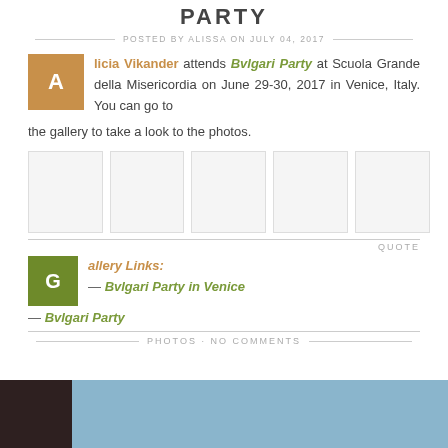PARTY
POSTED BY ALISSA ON JULY 04, 2017
licia Vikander attends Bvlgari Party at Scuola Grande della Misericordia on June 29-30, 2017 in Venice, Italy. You can go to the gallery to take a look to the photos.
[Figure (photo): Row of 5 blank photo thumbnail placeholders]
QUOTE
Gallery Links:
— Bvlgari Party in Venice
— Bvlgari Party
PHOTOS · NO COMMENTS
[Figure (photo): Partial photo of a person's head against a blue sky background at the bottom of the page]